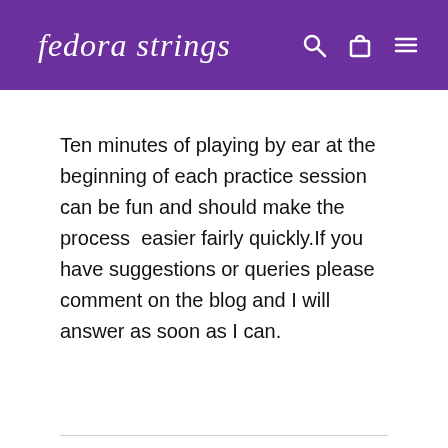fedora strings
Ten minutes of playing by ear at the beginning of each practice session can be fun and should make the process  easier fairly quickly.If you have suggestions or queries please comment on the blog and I will answer as soon as I can.